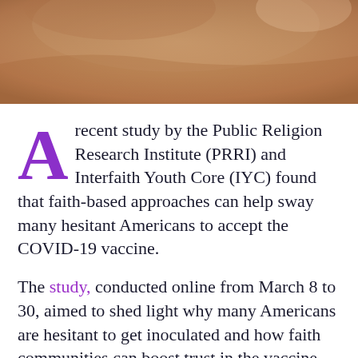[Figure (photo): Close-up photo of a person's arm or shoulder, skin tones in warm brown, suggesting a vaccination or medical context.]
A recent study by the Public Religion Research Institute (PRRI) and Interfaith Youth Core (IYC) found that faith-based approaches can help sway many hesitant Americans to accept the COVID-19 vaccine.
The study, conducted online from March 8 to 30, aimed to shed light why many Americans are hesitant to get inoculated and how faith communities can boost trust in the vaccine.